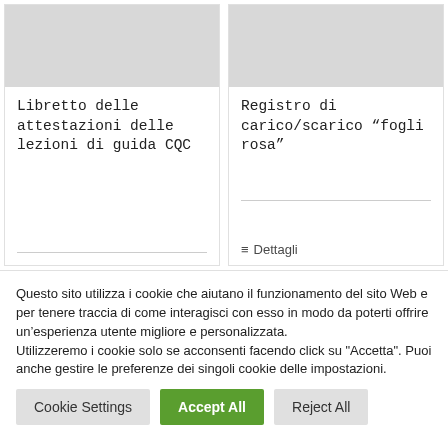[Figure (illustration): Card with gray image placeholder for 'Libretto delle attestazioni delle lezioni di guida CQC']
Libretto delle attestazioni delle lezioni di guida CQC
[Figure (illustration): Card with gray image placeholder for 'Registro di carico/scarico “fogli rosa”']
Registro di carico/scarico “fogli rosa”
Dettagli
Questo sito utilizza i cookie che aiutano il funzionamento del sito Web e per tenere traccia di come interagisci con esso in modo da poterti offrire un’esperienza utente migliore e personalizzata.
Utilizzeremo i cookie solo se acconsenti facendo click su "Accetta". Puoi anche gestire le preferenze dei singoli cookie delle impostazioni.
Cookie Settings
Accept All
Reject All